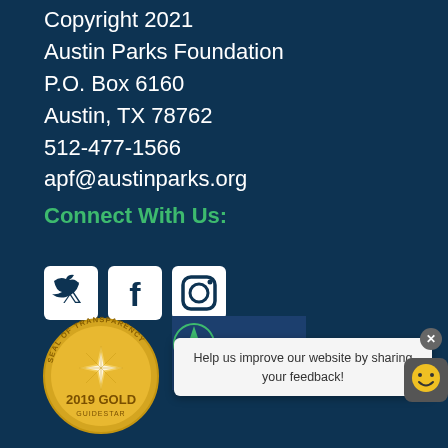Copyright 2021
Austin Parks Foundation
P.O. Box 6160
Austin, TX 78762
512-477-1566
apf@austinparks.org
Connect With Us:
[Figure (illustration): Social media icons: Twitter bird, Facebook f, Instagram camera - white on dark background in rounded square boxes]
[Figure (illustration): GuideStar Seal of Transparency 2019 Gold badge - circular gold seal]
[Figure (logo): Charity Navigator logo - blue background with green compass star and white text CHARITY NAVIGATOR]
Help us improve our website by sharing your feedback!